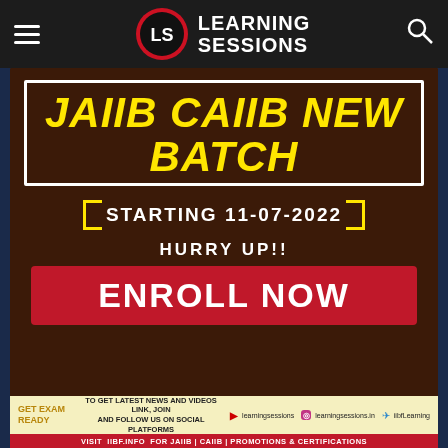Learning Sessions — JAIIB CAIIB New Batch
[Figure (infographic): Dark brown promotional banner for JAIIB CAIIB New Batch starting 11-07-2022. Yellow bold italic text 'JAIIB CAIIB NEW BATCH' in white-bordered box. Yellow bracket bar 'STARTING 11-07-2022'. White text 'HURRY UP!!'. Red rectangle with white bold text 'ENROLL NOW'. Bottom strip with 'GET EXAM READY', social media handles and 'VISIT iibf.info FOR JAIIB | CAIIB | PROMOTIONS & CERTIFICATIONS'.]